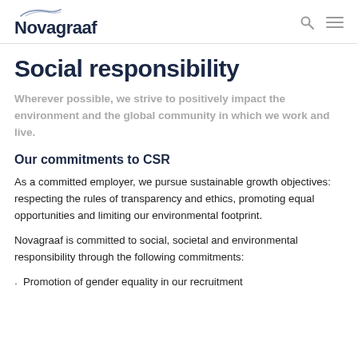Novagraaf
Social responsibility
Wherever possible, we strive to positively impact the environment and the global community in which we work and live.
Our commitments to CSR
As a committed employer, we pursue sustainable growth objectives: respecting the rules of transparency and ethics, promoting equal opportunities and limiting our environmental footprint.
Novagraaf is committed to social, societal and environmental responsibility through the following commitments:
Promotion of gender equality in our recruitment